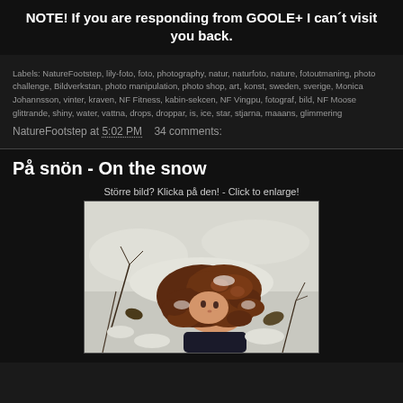NOTE! If you are responding from GOOLE+ I can´t visit you back.
Labels: NatureFootstep, lily-foto, foto, photography, natur, naturfoto, nature, fotoutmaning, photo challenge, Bildverkstan, photo manipulation, photo shop, art, konst, sweden, sverige, Monica Johannsson, vinter, kraven, NF Fitness, kabin-sekcen, NF Vingpu, fotograf, bild, NF Moose glittrande, shiny, water, vattna, drops, droppar, is, ice, star, stjarna, maaans, glimmering
NatureFootstep at 5:02 PM   34 comments:
På snön - On the snow
Större bild? Klicka på den! - Click to enlarge!
[Figure (photo): A doll or mannequin head with curly auburn/reddish-brown hair lying on snow, surrounded by winter vegetation and snow-covered ground.]